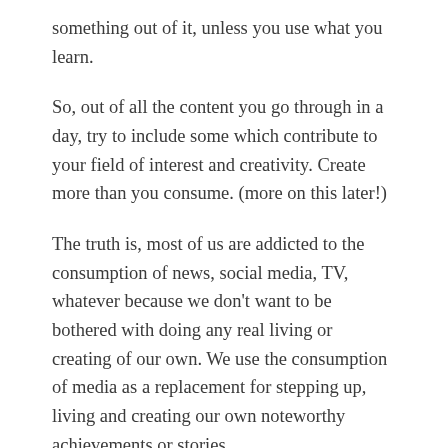something out of it, unless you use what you learn.
So, out of all the content you go through in a day, try to include some which contribute to your field of interest and creativity. Create more than you consume. (more on this later!)
The truth is, most of us are addicted to the consumption of news, social media, TV, whatever because we don't want to be bothered with doing any real living or creating of our own. We use the consumption of media as a replacement for stepping up, living and creating our own noteworthy achievements or stories.
You don't get to be good, you effort to be...